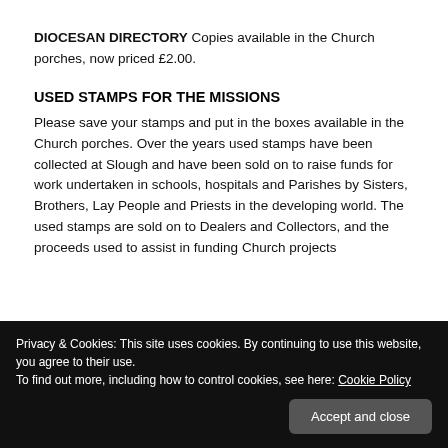DIOCESAN DIRECTORY Copies available in the Church porches, now priced £2.00.
USED STAMPS FOR THE MISSIONS
Please save your stamps and put in the boxes available in the Church porches. Over the years used stamps have been collected at Slough and have been sold on to raise funds for work undertaken in schools, hospitals and Parishes by Sisters, Brothers, Lay People and Priests in the developing world. The used stamps are sold on to Dealers and Collectors, and the proceeds used to assist in funding Church projects
Privacy & Cookies: This site uses cookies. By continuing to use this website, you agree to their use.
To find out more, including how to control cookies, see here: Cookie Policy
ST GILBERT'S MISSION Small plastic bottles are